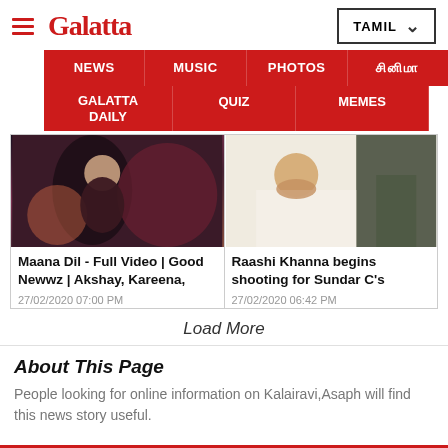Galatta TAMIL
NEWS | MUSIC | PHOTOS | (Tamil) | GALATTA DAILY | QUIZ | MEMES
[Figure (photo): Two news card images side by side: left shows a couple from a music video, right shows a man in white shirt and a woman]
Maana Dil - Full Video | Good Newwz | Akshay, Kareena,
27/02/2020 07:00 PM
Raashi Khanna begins shooting for Sundar C's
27/02/2020 06:42 PM
Load More
About This Page
People looking for online information on Kalairavi,Asaph will find this news story useful.